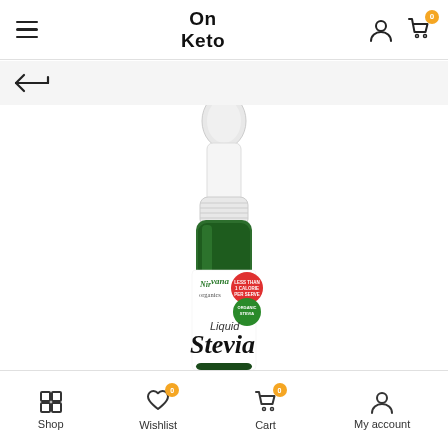On Keto — navigation header with hamburger menu, logo, user icon, and cart
[Figure (screenshot): Back arrow navigation button on a light grey bar]
[Figure (photo): Nirvana Organics Liquid Stevia dropper bottle with white cap, green glass bottle, product label showing 'Less than 1 calorie per serve' and 'Organic Stevia' badges]
Shop | Wishlist | Cart | My account — bottom navigation bar